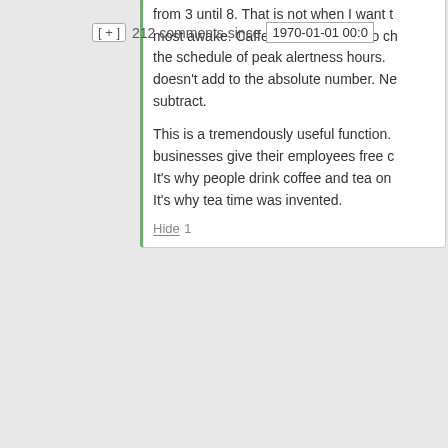[ + ]  212 comments since   1970-01-01 00:0
from 3 until 8. That is not when I want to be most awake. Caffeine enables me to change the schedule of peak alertness hours. It doesn't add to the absolute number. Nor does it subtract.
This is a tremendously useful function. It's why businesses give their employees free coffee. It's why people drink coffee and tea on the job. It's why tea time was invented.
Hide 1
Ryan Michael Ballow says:
March 3, 2016 at 6:13 pm ~new~
Yes – there are non responders, that for whatever reasons, don't respond much at all to nootropics.